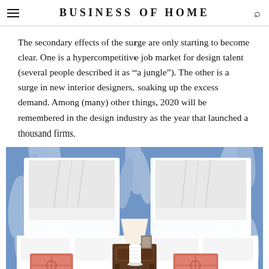BUSINESS OF HOME
The secondary effects of the surge are only starting to become clear. One is a hypercompetitive job market for design talent (several people described it as “a jungle”). The other is a surge in new interior designers, soaking up the excess demand. Among (many) other things, 2020 will be remembered in the design industry as the year that launched a thousand firms.
[Figure (photo): Interior bedroom photo showing two white upholstered beds with coral/pink patterned throw pillows, white canopy-style headboards with draping fabric, a dark wood nightstand with a white ceramic lamp between the beds, and blue-and-white botanical/palm leaf wallpaper covering the walls.]